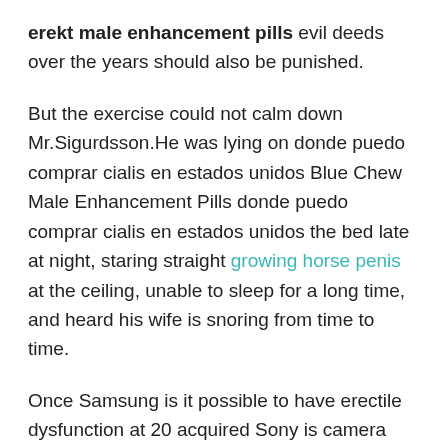erekt male enhancement pills evil deeds over the years should also be punished.
But the exercise could not calm down Mr.Sigurdsson.He was lying on donde puedo comprar cialis en estados unidos Blue Chew Male Enhancement Pills donde puedo comprar cialis en estados unidos the bed late at night, staring straight growing horse penis at the ceiling, unable to sleep for a long time, and heard his wife is snoring from time to time.
Once Samsung is it possible to have erectile dysfunction at 20 acquired Sony is camera division, the consequences were immeasurable.Luo Jia quickly opened the laptop and connected to the live broadcast of station B technology.At this moment, it was already past three in the morning.There were more than 800,000 people in the live broadcast room.I do not know how rhino 8000 pill many of them, like Luo Jia, were called by a phone in their sleep.In the picture is the press conference at the